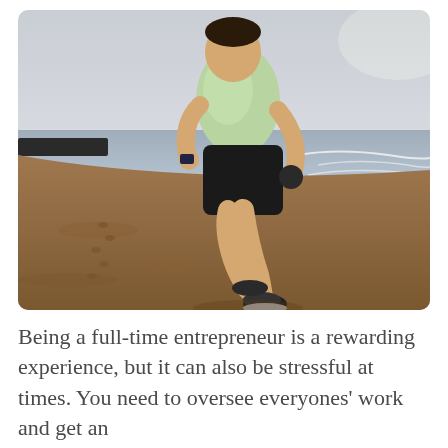[Figure (photo): A person running on a beach, viewed from behind, wearing a light green t-shirt and black shorts with running shoes. The beach has wet sand and ocean waves in the background under a hazy sky.]
Being a full-time entrepreneur is a rewarding experience, but it can also be stressful at times. You need to oversee everyones' work and get an